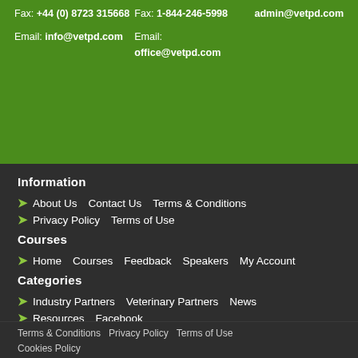Fax: +44 (0) 8723 315668
Email: info@vetpd.com
Fax: 1-844-246-5998
Email: office@vetpd.com
admin@vetpd.com
Information
About Us    Contact Us    Terms & Conditions
Privacy Policy    Terms of Use
Courses
Home    Courses    Feedback    Speakers    My Account
Categories
Industry Partners    Veterinary Partners    News
Resources    Facebook
Terms & Conditions    Privacy Policy    Terms of Use    Cookies Policy